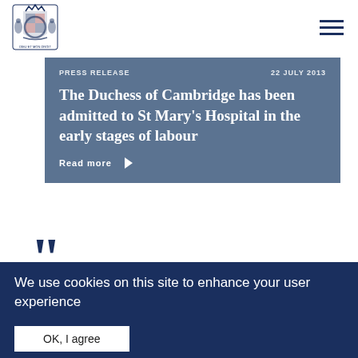[Figure (logo): Royal coat of arms / crest logo in blue]
PRESS RELEASE | 22 JULY 2013
The Duchess of Cambridge has been admitted to St Mary's Hospital in the early stages of labour
Read more ▶
We use cookies on this site to enhance your user experience
By clicking any link on this page you are giving your consent for us to set cookies. No, give me more info
OK, I agree